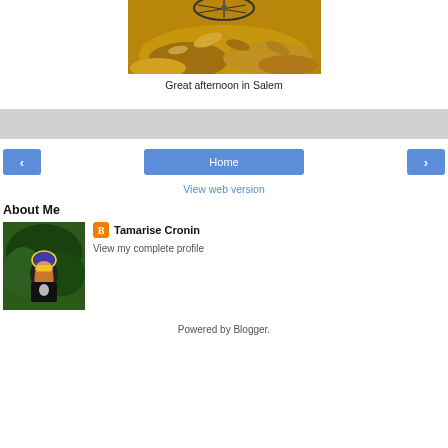[Figure (photo): Photo of autumn leaves on ground with bicycle wheel visible at top, taken in Salem]
Great afternoon in Salem
[Figure (other): Grey horizontal bar (likely an advertisement placeholder)]
[Figure (other): Navigation row with left arrow button, Home button, and right arrow button]
View web version
About Me
[Figure (photo): Profile photo of Tamarise Cronin wearing cycling helmet and gear]
Tamarise Cronin
View my complete profile
Powered by Blogger.